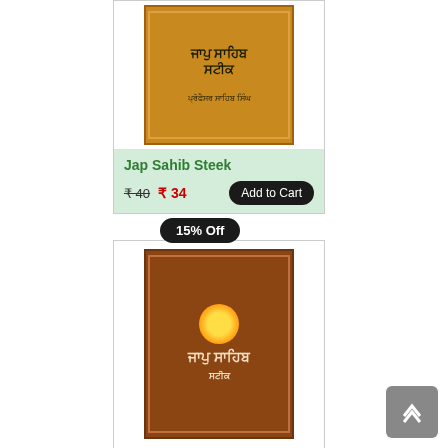[Figure (photo): Book cover for Jap Sahib Steek - orange/golden colored book with Punjabi text]
Jap Sahib Steek
₹ 40   ₹ 34   Add to Cart
15% Off
[Figure (photo): Book cover for Japu Sahib Steek - brown colored book with Punjabi text and sun graphic]